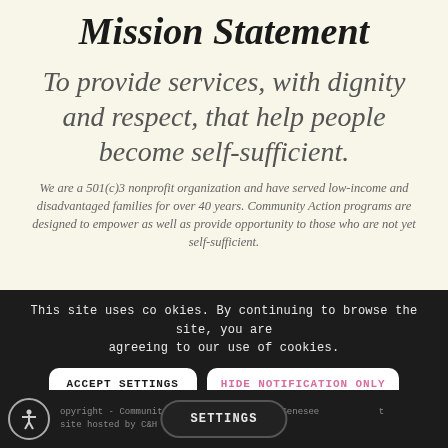Mission Statement
To provide services, with dignity and respect, that help people become self-sufficient.
We are a 501(c)3 nonprofit organization and have served low-income and disadvantaged families for over 40 years. Community Action programs are designed to empower as well as provide opportunity to those who are not yet self-sufficient.
This site uses cookies. By continuing to browse the site, you are agreeing to our use of cookies.
ACCEPT SETTINGS
HIDE NOTIFICATION ONLY
Copyright - Community Action of Orleans & Genesee   Site hosted by C&H PC
SETTINGS